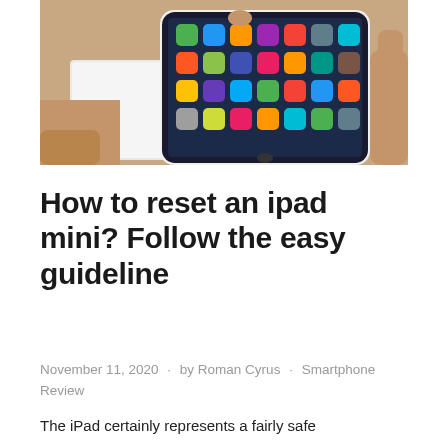[Figure (photo): A hand holding an iPad mini above its white box, showing the device's home screen with app icons on a dark background.]
How to reset an ipad mini? Follow the easy guideline
November 11, 2020 · by Roman Cyrus · Smartphone Review
The iPad certainly represents a fairly safe